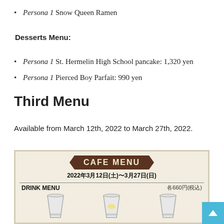Persona 1 Snow Queen Ramen
Desserts Menu:
Persona 1 St. Hermelin High School pancake: 1,320 yen
Persona 1 Pierced Boy Parfait: 990 yen
Third Menu
Available from March 12th, 2022 to March 27th, 2022.
[Figure (photo): Cafe menu flyer showing 'CAFE MENU' banner, date 2022年3月12日(土)〜3月27日(日), DRINK MENU section with price 各660円(税込), and drink glass illustrations at the bottom.]